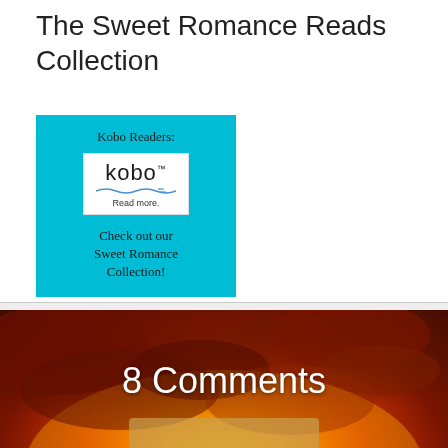The Sweet Romance Reads Collection
[Figure (illustration): Cyan/teal banner with Kobo logo and text reading 'Kobo Readers:' at top, Kobo Read more. logo in white box in center, and 'Check out our Sweet Romance Collection!' text below]
[Figure (photo): Sunset sky photograph with dramatic orange, red and dark clouds over a bright sun near horizon]
8 Comments